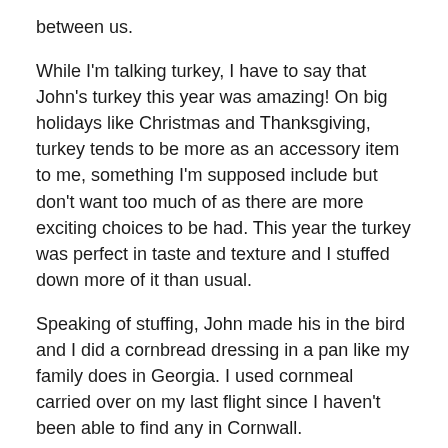between us.
While I'm talking turkey, I have to say that John's turkey this year was amazing! On big holidays like Christmas and Thanksgiving, turkey tends to be more as an accessory item to me, something I'm supposed include but don't want too much of as there are more exciting choices to be had. This year the turkey was perfect in taste and texture and I stuffed down more of it than usual.
Speaking of stuffing, John made his in the bird and I did a cornbread dressing in a pan like my family does in Georgia. I used cornmeal carried over on my last flight since I haven't been able to find any in Cornwall.
Have a look at our dinner plates on Christmas day, they may look like they have the same food, but if you look